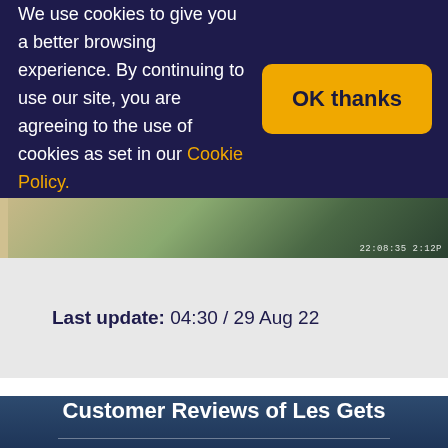We use cookies to give you a better browsing experience. By continuing to use our site, you are agreeing to the use of cookies as set in our Cookie Policy.
OK thanks
[Figure (photo): Outdoor landscape photo strip showing trees and terrain with a timestamp overlay reading '22:08:35 2:12P']
Last update: 04:30 / 29 Aug 22
Customer Reviews of Les Gets